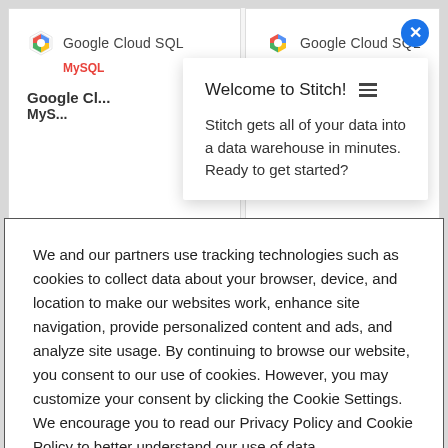[Figure (screenshot): Google Cloud SQL MySQL card with logo and title text visible in background]
Welcome to Stitch! Stitch gets all of your data into a data warehouse in minutes. Ready to get started?
We and our partners use tracking technologies such as cookies to collect data about your browser, device, and location to make our websites work, enhance site navigation, provide personalized content and ads, and analyze site usage. By continuing to browse our website, you consent to our use of cookies. However, you may customize your consent by clicking the Cookie Settings. We encourage you to read our Privacy Policy and Cookie Policy to better understand our use of data.
Cookie Settings
Accept Cookies